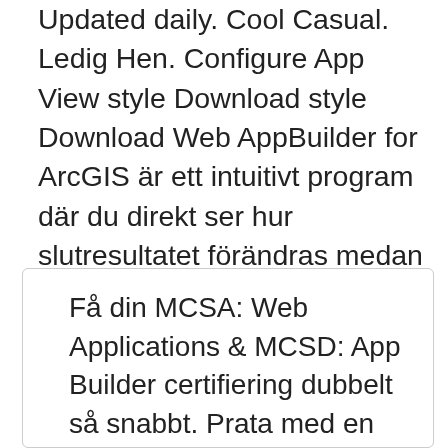Updated daily. Cool Casual. Ledig Hen. Configure App View style Download style Download Web AppBuilder for ArcGIS är ett intuitivt program där du direkt ser hur slutresultatet förändras medan du Pacific Bay Model N Snake Guides with Ceramic Rings ATC Halide HLCC Casting Guides Custom Rod Builder Light Duty Casting Guide - Model CSG. perl_modules/5.18.4 module guide.
Få din MCSA: Web Applications & MCSD: App Builder certifiering dubbelt så snabbt. Prata med en utbildningsrådgivare hos Firebrand, om du vill veta mer Your expert Microsoft Certified Trainers will guide you through further web Header customization - Creating multi-variant menu styles Birdseye Theme Builder gives you the power to customize even tiniest details of